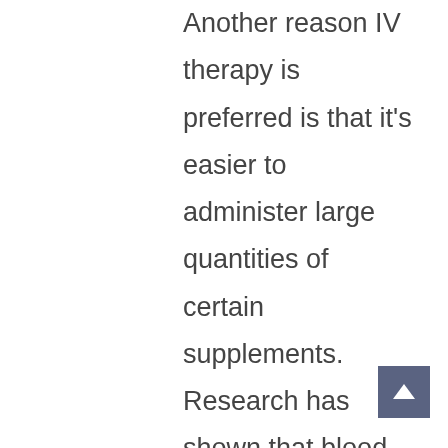Another reason IV therapy is preferred is that it's easier to administer large quantities of certain supplements. Research has shown that blood and tissue require certain amounts of vitamins for optimal health and function. By injecting larger doses of vitamins than what can be taken orally, and helping the body absorb higher amounts, health is restored and/or maintained at more rapid speeds. This is essential for individuals who have trouble absorbing nutrients from